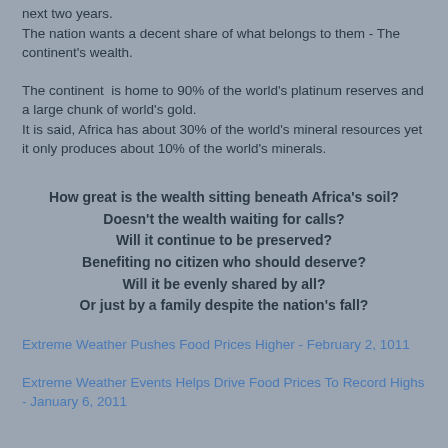next two years.
The nation wants a decent share of what belongs to them - The continent's wealth.
The continent is home to 90% of the world's platinum reserves and a large chunk of world's gold.
It is said, Africa has about 30% of the world's mineral resources yet it only produces about 10% of the world's minerals.
How great is the wealth sitting beneath Africa's soil?
Doesn't the wealth waiting for calls?
Will it continue to be preserved?
Benefiting no citizen who should deserve?
Will it be evenly shared by all?
Or just by a family despite the nation's fall?
Extreme Weather Pushes Food Prices Higher - February 2, 1011
Extreme Weather Events Helps Drive Food Prices To Record Highs - January 6, 2011